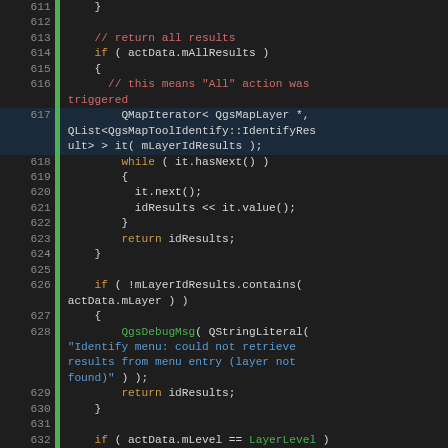[Figure (screenshot): Source code screenshot showing C++ code lines 611-637 with syntax highlighting. Line numbers in gray on left, green vertical bar, code with orange keywords (if, while, return), green identifiers (LayerLevel, FeatureLevel, QgsDebugMsg), red comments, and blue string literals on dark background.]